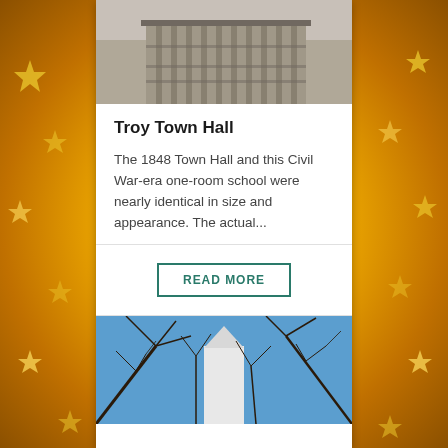[Figure (photo): Black and white historical photo of a building (Troy Town Hall) visible at the top of the card]
Troy Town Hall
The 1848 Town Hall and this Civil War-era one-room school were nearly identical in size and appearance. The actual...
READ MORE
[Figure (photo): Color photo showing bare winter tree branches against a blue sky with a white structure partially visible]